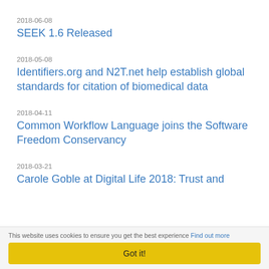2018-06-08
SEEK 1.6 Released
2018-05-08
Identifiers.org and N2T.net help establish global standards for citation of biomedical data
2018-04-11
Common Workflow Language joins the Software Freedom Conservancy
2018-03-21
Carole Goble at Digital Life 2018: Trust and
This website uses cookies to ensure you get the best experience Find out more
Got it!